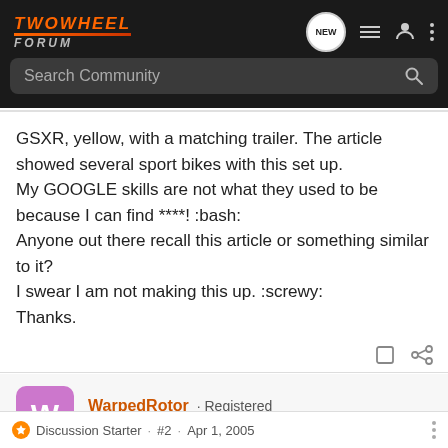TwoWheel Forum — navigation bar with search
GSXR, yellow, with a matching trailer. The article showed several sport bikes with this set up.
My GOOGLE skills are not what they used to be because I can find ****! :bash:
Anyone out there recall this article or something similar to it?
I swear I am not making this up. :screwy:
Thanks.
WarpedRotor · Registered
Joined Jun 23, 2004 · 326 Posts
Discussion Starter · #2 · Apr 1, 2005